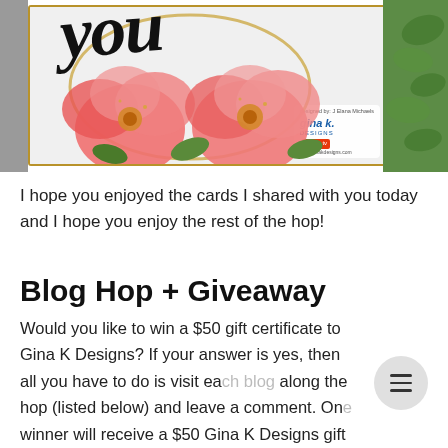[Figure (photo): A greeting card with pink flowers and cursive 'you' text, with Gina K Designs logo badge, placed on a gray wooden surface with green plant in background.]
I hope you enjoyed the cards I shared with you today and I hope you enjoy the rest of the hop!
Blog Hop + Giveaway
Would you like to win a $50 gift certificate to Gina K Designs? If your answer is yes, then all you have to do is visit each blog along the hop (listed below) and leave a comment. One winner will receive a $50 Gina K Designs gift certificate!